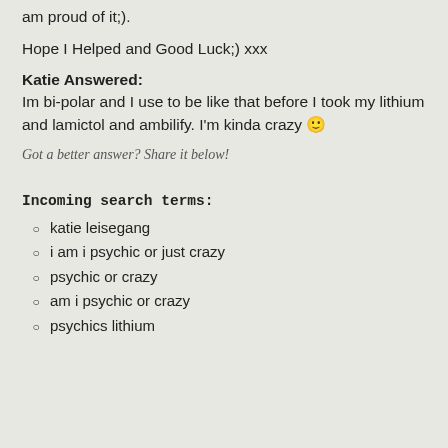am proud of it;).
Hope I Helped and Good Luck;) xxx
Katie Answered:
Im bi-polar and I use to be like that before I took my lithium and lamictol and ambilify. I'm kinda crazy 🙂
Got a better answer? Share it below!
Incoming search terms:
katie leisegang
i am i psychic or just crazy
psychic or crazy
am i psychic or crazy
psychics lithium